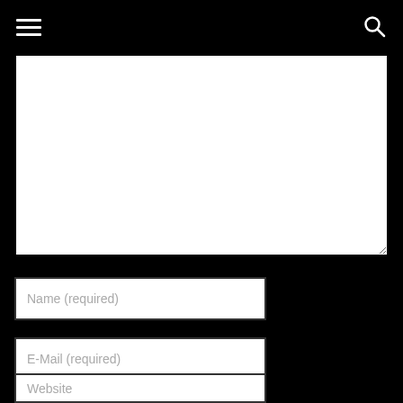Navigation header with hamburger menu and search icon
[Figure (screenshot): Large white textarea for comment input, with resize handle at bottom-right corner]
Name (required)
E-Mail (required)
Website